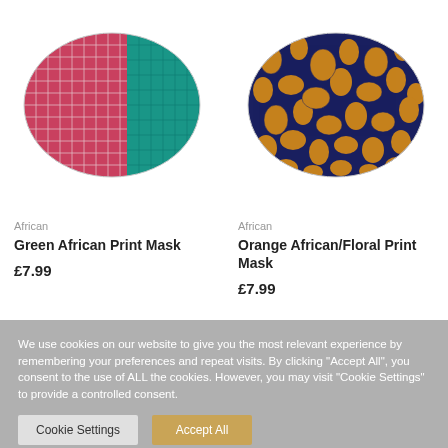[Figure (photo): Green African Print face mask with teal and red/white patterned fabric]
African
Green African Print Mask
£7.99
[Figure (photo): Orange African/Floral Print face mask with dark navy and orange dotted/floral fabric]
African
Orange African/Floral Print Mask
£7.99
We use cookies on our website to give you the most relevant experience by remembering your preferences and repeat visits. By clicking "Accept All", you consent to the use of ALL the cookies. However, you may visit "Cookie Settings" to provide a controlled consent.
Cookie Settings
Accept All